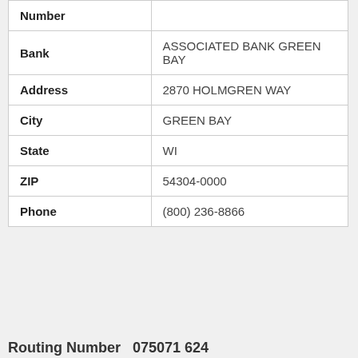| Field | Value |
| --- | --- |
| Number |  |
| Bank | ASSOCIATED BANK GREEN BAY |
| Address | 2870 HOLMGREN WAY |
| City | GREEN BAY |
| State | WI |
| ZIP | 54304-0000 |
| Phone | (800) 236-8866 |
Routing Number 075071 624